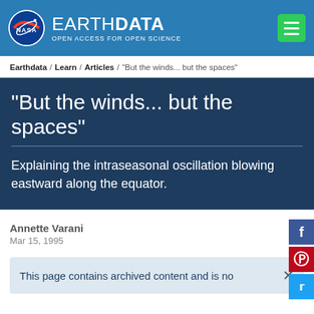[Figure (logo): NASA EarthData logo with NASA meatball logo on left and EARTHDATA text with tagline 'OPEN ACCESS FOR OPEN SCIENCE' on right, on blue background. Green hamburger menu button on far right.]
Earthdata / Learn / Articles / "But the winds... but the spaces"
"But the winds... but the spaces"
Explaining the intraseasonal oscillation blowing eastward along the equator.
Annette Varani
Mar 15, 1995
This page contains archived content and is no